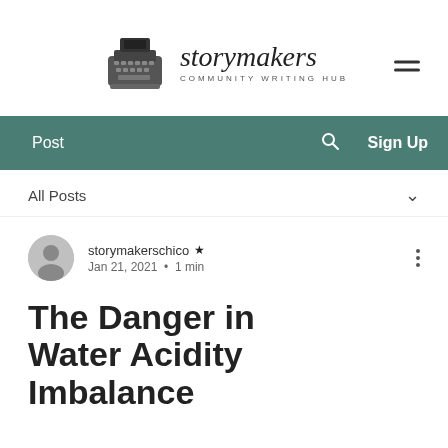[Figure (logo): Story Makers Community Writing Hub logo with typewriter icon and brand name]
Post  🔍  Sign Up
All Posts
storymakerschico  Jan 21, 2021  •  1 min
The Danger in Water Acidity Imbalance